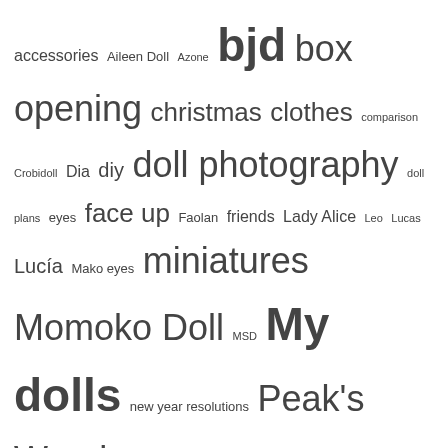accessories Aileen Doll Azone bjd box opening christmas clothes comparison Crobidoll Dia diy doll photography doll plans eyes face up Faolan friends Lady Alice Leo Lucas Lucía Mako eyes miniatures Momoko Doll MSD My dolls new year resolutions Peak's Woods photography Pure Neemo Reviews SD Serafina shoes sio2 SOOM Souldoll Supia tag Tona Tutorial videogames wigs year balance YoSD
FLICKR
[Figure (photo): A ball-jointed doll (BJD) with brown messy hair and large expressive eyes, photographed outdoors with a blurred green background. The doll has a realistic face with delicate features and is wearing a light-colored outfit.]